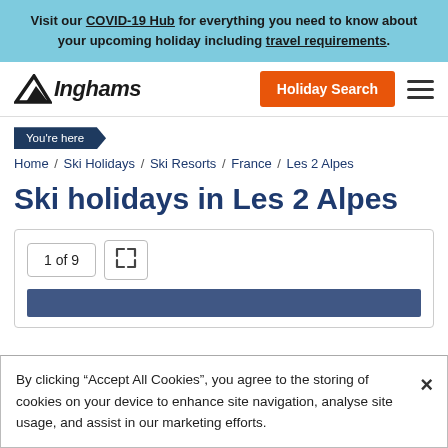Visit our COVID-19 Hub for everything you need to know about your upcoming holiday including travel requirements.
[Figure (logo): Inghams logo with arrow and italic text]
Holiday Search
You're here
Home / Ski Holidays / Ski Resorts / France / Les 2 Alpes
Ski holidays in Les 2 Alpes
1 of 9
By clicking “Accept All Cookies”, you agree to the storing of cookies on your device to enhance site navigation, analyse site usage, and assist in our marketing efforts.